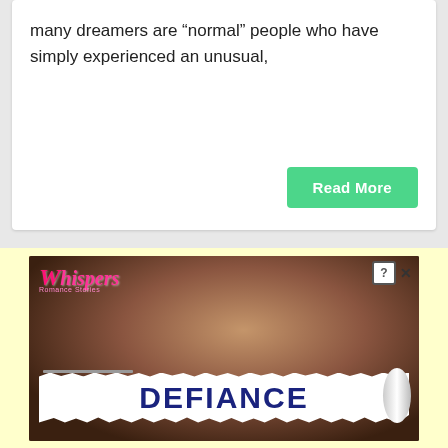many dreamers are “normal” people who have simply experienced an unusual,
[Figure (illustration): Advertisement for 'Whispers' app showing a romantic book cover titled 'DEFIANCE' with a couple embracing, featuring a torn newspaper style banner with the title text in dark blue bold letters. The Whispers logo appears in pink script at top left. A close/help button appears at top right.]